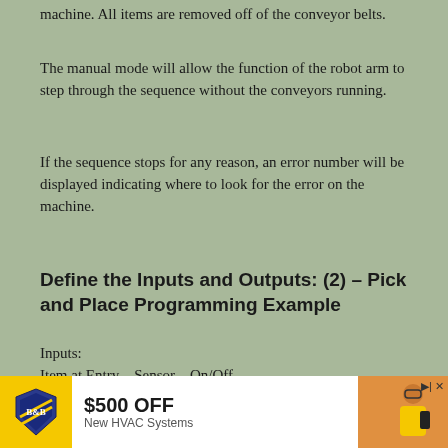machine. All items are removed off of the conveyor belts.
The manual mode will allow the function of the robot arm to step through the sequence without the conveyors running.
If the sequence stops for any reason, an error number will be displayed indicating where to look for the error on the machine.
Define the Inputs and Outputs: (2) – Pick and Place Programming Example
Inputs:
Item at Entry – Sensor – On/Off
Item at Exit – Sensor – On/Off
Moving X – Sensor – On/Off
[Figure (infographic): Advertisement banner: B&B shield logo, $500 OFF New HVAC Systems, woman with phone on right side]